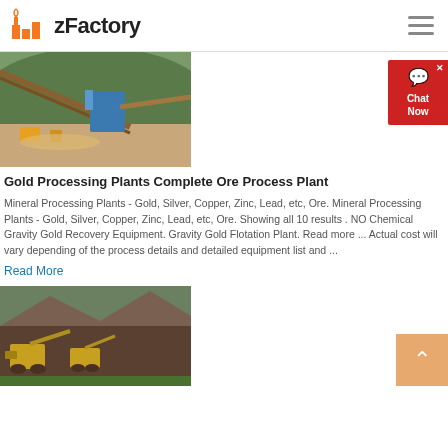zFactory
[Figure (photo): Aerial view of a gold mining processing plant with conveyor belts and equipment on a hillside]
Gold Processing Plants Complete Ore Process Plant
Mineral Processing Plants - Gold, Silver, Copper, Zinc, Lead, etc, Ore. Mineral Processing Plants - Gold, Silver, Copper, Zinc, Lead, etc, Ore. Showing all 10 results . NO Chemical Gravity Gold Recovery Equipment. Gravity Gold Flotation Plant. Read more ... Actual cost will vary depending of the process details and detailed equipment list and ...
Read More
[Figure (photo): Yellow mining machinery and equipment at a quarry or open pit mine site]
[Figure (other): Chat Now widget button (red)]
[Figure (other): Scroll to top button (orange)]